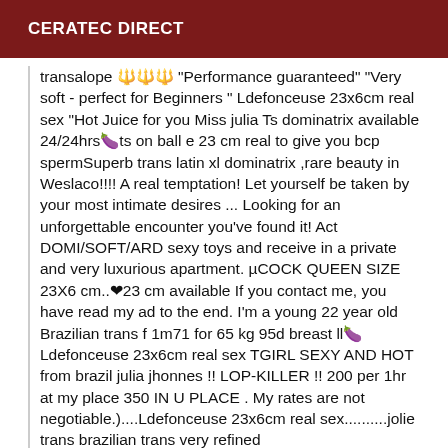CERATEC DIRECT
transalope 🔱🔱🔱 "Performance guaranteed" "Very soft - perfect for Beginners " Ldefonceuse 23x6cm real sex "Hot Juice for you Miss julia Ts dominatrix available 24/24hrs🍆ts on ball e 23 cm real to give you bcp spermSuperb trans latin xl dominatrix ,rare beauty in Weslaco!!!! A real temptation! Let yourself be taken by your most intimate desires ... Looking for an unforgettable encounter you've found it! Act DOMI/SOFT/ARD sexy toys and receive in a private and very luxurious apartment. µCOCK QUEEN SIZE 23X6 cm..❤23 cm available If you contact me, you have read my ad to the end. I'm a young 22 year old Brazilian trans f 1m71 for 65 kg 95d breast ll🍆Ldefonceuse 23x6cm real sex TGIRL SEXY AND HOT from brazil julia jhonnes !! LOP-KILLER !! 200 per 1hr at my place 350 IN U PLACE . My rates are not negotiable.)....Ldefonceuse 23x6cm real sex..........jolie trans brazilian trans very refined